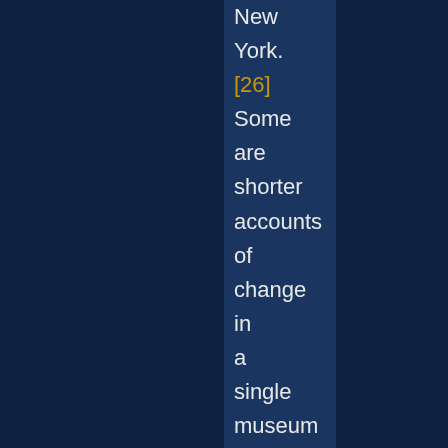New York. [26] Some are shorter accounts of change in a single museum such as that by Janes (1995) of Glenbow in